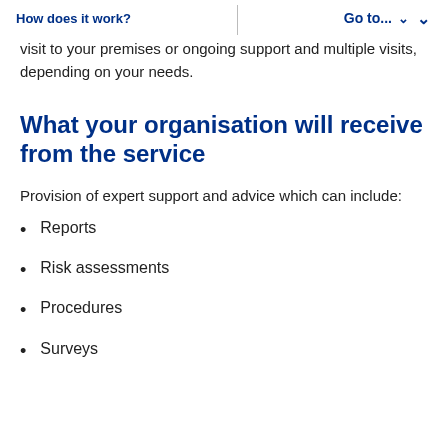How does it work?   Go to...
visit to your premises or ongoing support and multiple visits, depending on your needs.
What your organisation will receive from the service
Provision of expert support and advice which can include:
Reports
Risk assessments
Procedures
Surveys